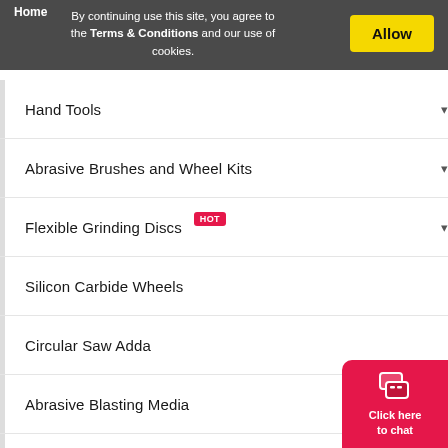Home
By continuing use this site, you agree to the Terms & Conditions and our use of cookies.
Hand Tools
Abrasive Brushes and Wheel Kits
Flexible Grinding Discs HOT
Silicon Carbide Wheels
Circular Saw Adda
Abrasive Blasting Media
More Category